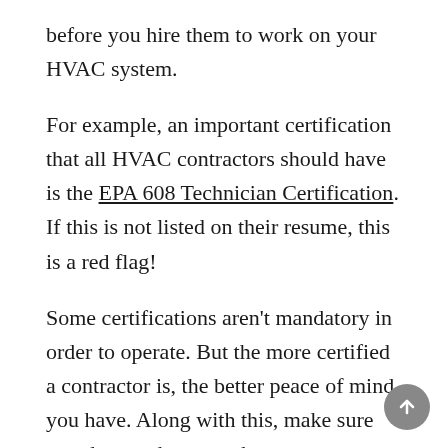before you hire them to work on your HVAC system.
For example, an important certification that all HVAC contractors should have is the EPA 608 Technician Certification. If this is not listed on their resume, this is a red flag!
Some certifications aren't mandatory in order to operate. But the more certified a contractor is, the better peace of mind you have. Along with this, make sure you do your homework on contractor licensing, proof of insurance, and bonding relevant to your state.